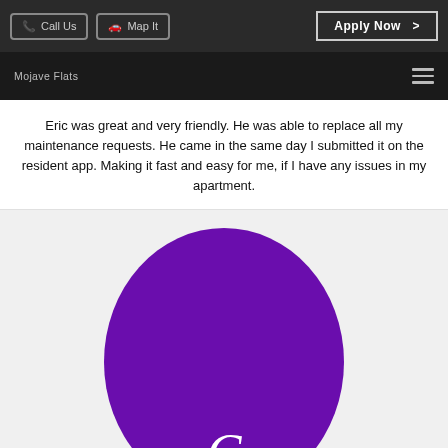Call Us  Map It  Apply Now >
Mojave Flats
Eric was great and very friendly. He was able to replace all my maintenance requests. He came in the same day I submitted it on the resident app. Making it fast and easy for me, if I have any issues in my apartment.
[Figure (illustration): Large purple circle avatar with a cursive letter C at the bottom center, on a light gray background]